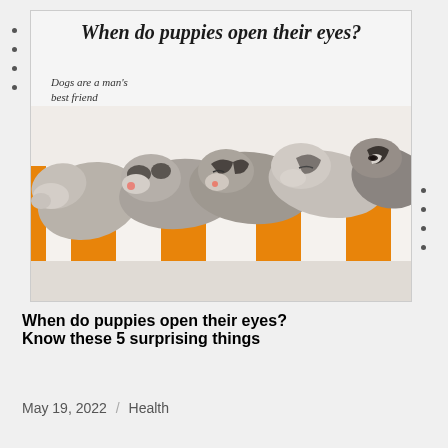[Figure (photo): A decorative card/slide showing sleeping newborn husky puppies on an orange and white striped blanket. The card has a handwritten-style title 'When do puppies open their eyes?' at the top and 'Dogs are a man's best friend' as a subtitle. Bullet dots appear on the left and right edges of the card.]
When do puppies open their eyes? Know these 5 surprising things
May 19, 2022 / Health